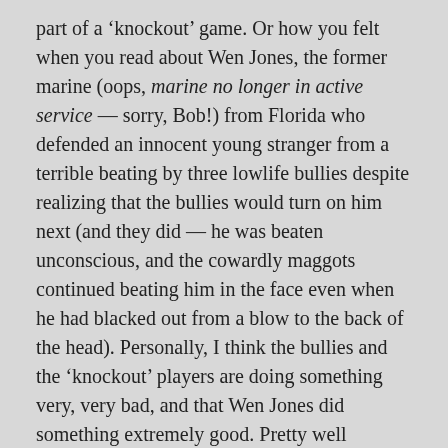part of a 'knockout' game. Or how you felt when you read about Wen Jones, the former marine (oops, marine no longer in active service — sorry, Bob!) from Florida who defended an innocent young stranger from a terrible beating by three lowlife bullies despite realizing that the bullies would turn on him next (and they did — he was beaten unconscious, and the cowardly maggots continued beating him in the face even when he had blacked out from a blow to the back of the head). Personally, I think the bullies and the 'knockout' players are doing something very, very bad, and that Wen Jones did something extremely good. Pretty well everyone feels as I do about these cases. But if you don't care about morality, you won't share these convictions and won't really care about the rightness or wrongness of such actions, nor would you if they happened on the street in front of you. Unless by some slim chance you're